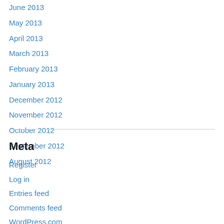June 2013
May 2013
April 2013
March 2013
February 2013
January 2013
December 2012
November 2012
October 2012
September 2012
August 2012
Meta
Register
Log in
Entries feed
Comments feed
WordPress.com